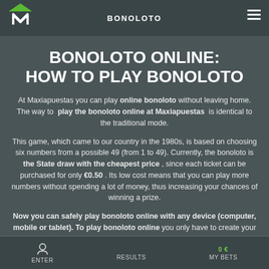BONOLOTO
BONOLOTO ONLINE: HOW TO PLAY BONOLOTO
At Maxiapuestas you can play online bonoloto without leaving home. The way to play the bonoloto online at Maxiapuestas is identical to the traditional mode.
This game, which came to our country in the 1980s, is based on choosing six numbers from a possible 49 (from 1 to 49). Currently, the bonoloto is the State draw with the cheapest price , since each ticket can be purchased for only €0.50 . Its low cost means that you can play more numbers without spending a lot of money, thus increasing your chances of winning a prize.
Now you can safely play bonoloto online with any device (computer, mobile or tablet). To play bonoloto online you only have to create your user account and select your numbers on
ENTER   RESULTS   0 €   MY BETS